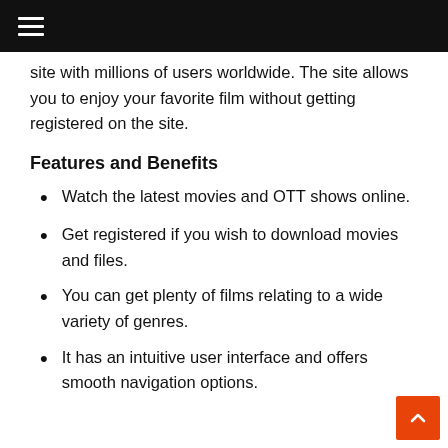≡
site with millions of users worldwide. The site allows you to enjoy your favorite film without getting registered on the site.
Features and Benefits
Watch the latest movies and OTT shows online.
Get registered if you wish to download movies and files.
You can get plenty of films relating to a wide variety of genres.
It has an intuitive user interface and offers smooth navigation options.